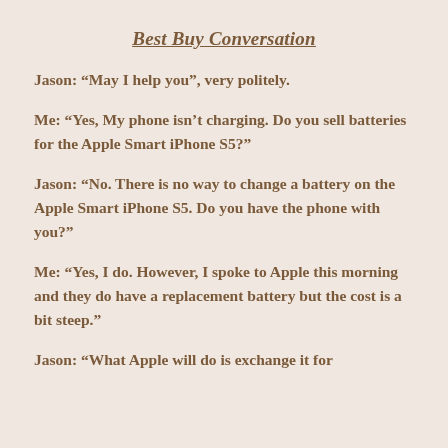Best Buy Conversation
Jason: “May I help you”, very politely.
Me: “Yes, My phone isn’t charging. Do you sell batteries for the Apple Smart iPhone S5?”
Jason: “No. There is no way to change a battery on the Apple Smart iPhone S5. Do you have the phone with you?”
Me: “Yes, I do. However, I spoke to Apple this morning and they do have a replacement battery but the cost is a bit steep.”
Jason: “What Apple will do is exchange it for